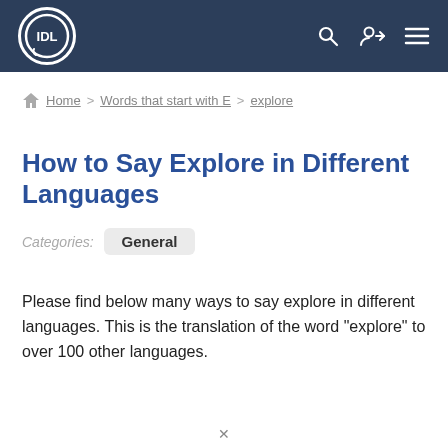IDL
Home > Words that start with E > explore
How to Say Explore in Different Languages
Categories: General
Please find below many ways to say explore in different languages. This is the translation of the word "explore" to over 100 other languages.